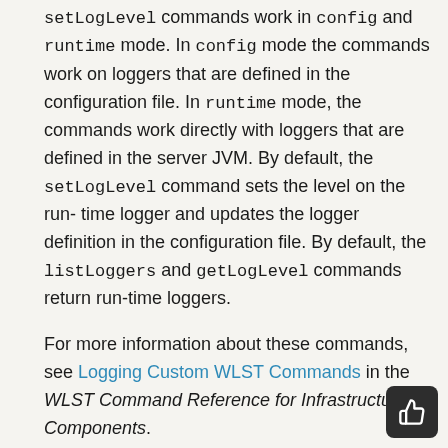setLogLevel commands work in config and runtime mode. In config mode the commands work on loggers that are defined in the configuration file. In runtime mode, the commands work directly with loggers that are defined in the server JVM. By default, the setLogLevel command sets the level on the run-time logger and updates the logger definition in the configuration file. By default, the listLoggers and getLogLevel commands return run-time loggers.
For more information about these commands, see Logging Custom WLST Commands in the WLST Command Reference for Infrastructure Components.
For Java components, you can configure the names and locations of log files, the size of the log files, the level of information written to the log files, the format, and the Locale encoding, as described in the following topics: